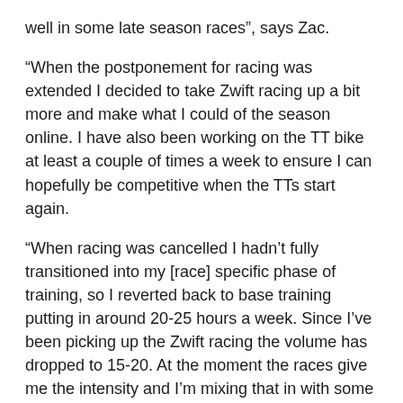well in some late season races”, says Zac.
“When the postponement for racing was extended I decided to take Zwift racing up a bit more and make what I could of the season online. I have also been working on the TT bike at least a couple of times a week to ensure I can hopefully be competitive when the TTs start again.
“When racing was cancelled I hadn’t fully transitioned into my [race] specific phase of training, so I reverted back to base training putting in around 20-25 hours a week. Since I’ve been picking up the Zwift racing the volume has dropped to 15-20. At the moment the races give me the intensity and I’m mixing that in with some eRacing specific sprint work. My sprint is not my strong point so working on this has been a focus for Zwift.
“I recently took part in the Virtual Joe Martin Stage Race which was organised by Project Echelon. This was a pretty